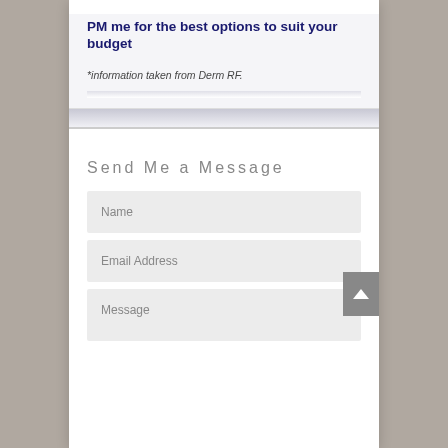PM me for the best options to suit your budget
*information taken from Derm RF.
Send Me a Message
Name
Email Address
Message